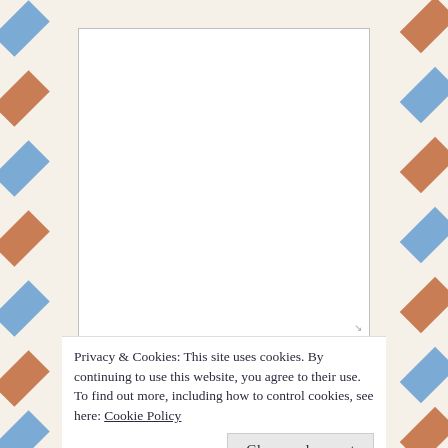[Figure (screenshot): A textarea input box with white background and a resize handle in the bottom-right corner, shown on a decorative airmail-style page background with blue and orange diagonal stripes on left and right borders.]
Privacy & Cookies: This site uses cookies. By continuing to use this website, you agree to their use.
To find out more, including how to control cookies, see here: Cookie Policy
Close and accept